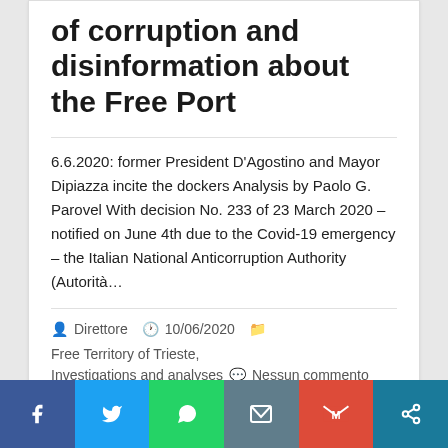of corruption and disinformation about the Free Port
6.6.2020: former President D'Agostino and Mayor Dipiazza incite the dockers Analysis by Paolo G. Parovel With decision No. 233 of 23 March 2020 – notified on June 4th due to the Covid-19 emergency – the Italian National Anticorruption Authority (Autorità…
Direttore  10/06/2020  Free Territory of Trieste, Investigations and analyses  Nessun commento
leggi tutto